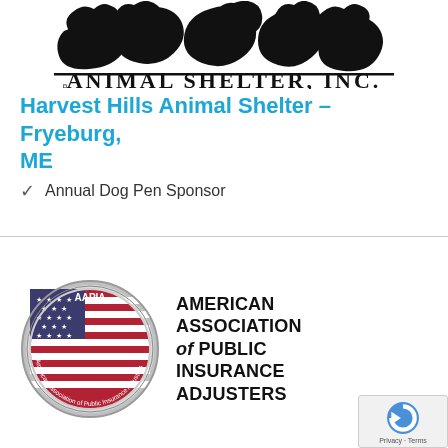[Figure (logo): Harvest Hills Animal Shelter Inc. logo with animal silhouettes and decorative text]
Harvest Hills Animal Shelter – Fryeburg, ME
Annual Dog Pen Sponsor
[Figure (logo): American Association of Public Insurance Adjusters (AAPIA) circular badge logo with American flag and stars, alongside the full organization name text]